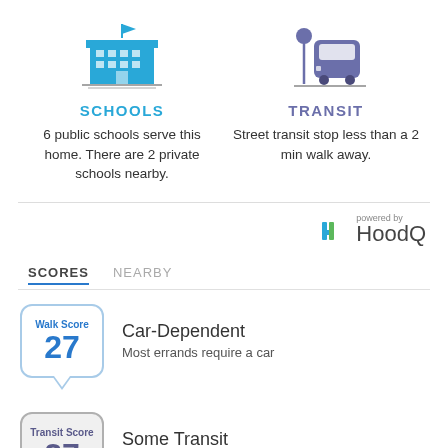[Figure (illustration): Blue school building icon with flag on top]
SCHOOLS
6 public schools serve this home. There are 2 private schools nearby.
[Figure (illustration): Purple transit bus icon with stop sign]
TRANSIT
Street transit stop less than a 2 min walk away.
[Figure (logo): HoodQ logo with 'powered by' text]
SCORES  NEARBY
[Figure (infographic): Walk Score badge showing 27]
Car-Dependent
Most errands require a car
[Figure (infographic): Transit Score badge showing 27]
Some Transit
A few nearby public transportation options